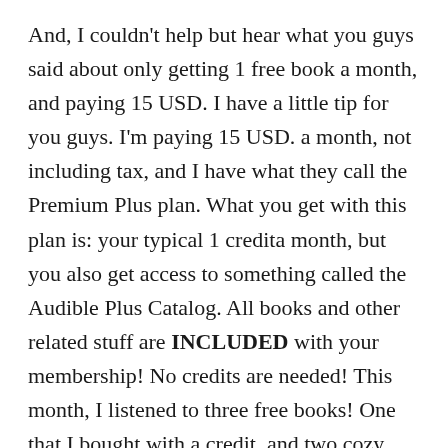And, I couldn't help but hear what you guys said about only getting 1 free book a month, and paying 15 USD. I have a little tip for you guys. I'm paying 15 USD. a month, not including tax, and I have what they call the Premium Plus plan. What you get with this plan is: your typical 1 credita month, but you also get access to something called the Audible Plus Catalog. All books and other related stuff are INCLUDED with your membership! No credits are needed! This month, I listened to three free books! One that I bought with a credit, and two cozy mysteries that were included in the plus catalog, which meant that I could get them for free! If VoiceOver says included after the info on a book, then that means that it's free. Randy, I'm not sure if you have the same plan as I do.